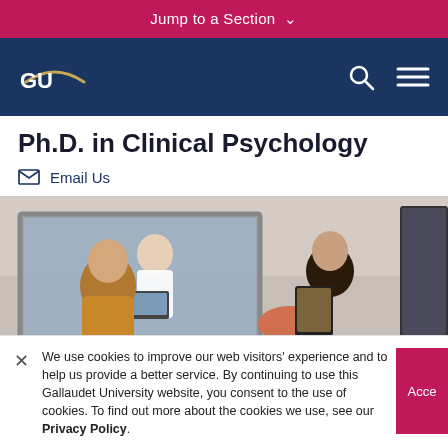Jump to a Section
[Figure (logo): Gallaudet University GU logo with arc graphic, white on dark blue nav bar, with search and hamburger menu icons]
Ph.D. in Clinical Psychology
Email Us
[Figure (photo): Clinical psychology observation room: a woman in a white coat visible through a one-way mirror window while two people sit across from each other, one in a mustard-yellow cardigan on left and another with dark hair on right holding a tablet]
We use cookies to improve our web visitors' experience and to help us provide a better service. By continuing to use this Gallaudet University website, you consent to the use of cookies. To find out more about the cookies we use, see our Privacy Policy.